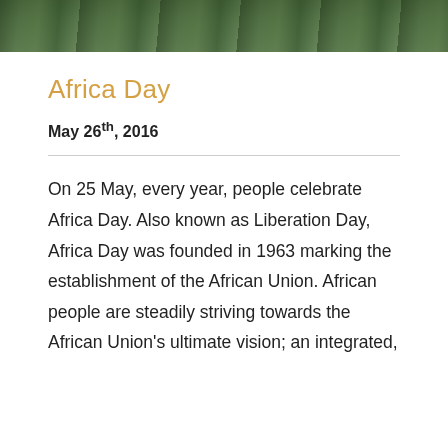[Figure (photo): Photo strip at the top of the page showing a person outdoors among green trees/vegetation]
Africa Day
May 26th, 2016
On 25 May, every year, people celebrate Africa Day. Also known as Liberation Day, Africa Day was founded in 1963 marking the establishment of the African Union. African people are steadily striving towards the African Union's ultimate vision; an integrated,